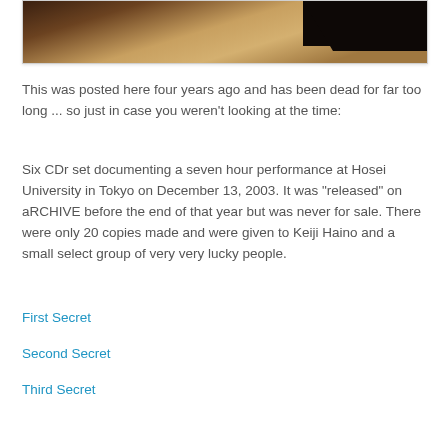[Figure (photo): Partial photo of dark and light wooden surfaces, cut off at top of page]
This was posted here four years ago and has been dead for far too long ... so just in case you weren't looking at the time:
Six CDr set documenting a seven hour performance at Hosei University in Tokyo on December 13, 2003. It was "released" on aRCHIVE before the end of that year but was never for sale. There were only 20 copies made and were given to Keiji Haino and a small select group of very very lucky people.
First Secret
Second Secret
Third Secret